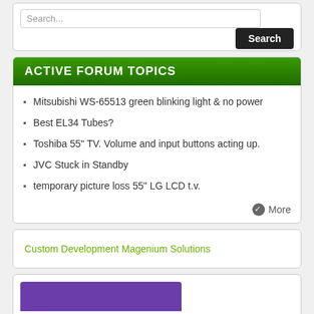Search...
Search
ACTIVE FORUM TOPICS
Mitsubishi WS-65513 green blinking light & no power
Best EL34 Tubes?
Toshiba 55" TV. Volume and input buttons acting up.
JVC Stuck in Standby
temporary picture loss 55" LG LCD t.v.
More
Custom Development Magenium Solutions
[Figure (illustration): Purple banner image partially visible at bottom]